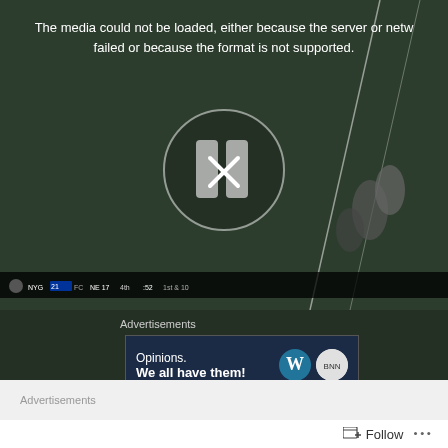[Figure (screenshot): Video player showing a football game (NFL/NBC broadcast) with scorebar showing NYG 21 vs NE 17, 4th quarter. A media error overlay is displayed with pause icon and X symbol.]
The media could not be loaded, either because the server or network failed or because the format is not supported.
Advertisements
[Figure (screenshot): Advertisement banner with dark blue background showing 'Opinions. We all have them!' with WordPress logo and another circular logo on the right.]
REPORT THIS AD
Advertisements
Follow
•••